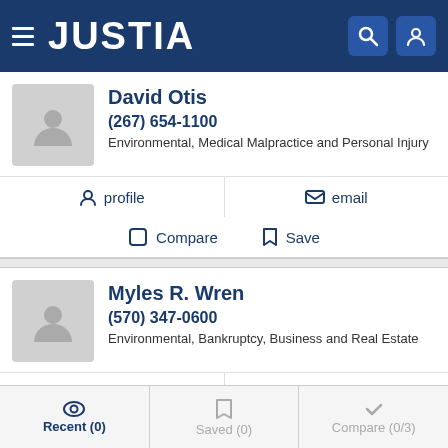JUSTIA
David Otis
(267) 654-1100
Environmental, Medical Malpractice and Personal Injury
profile   email
Compare   Save
Myles R. Wren
(570) 347-0600
Environmental, Bankruptcy, Business and Real Estate
profile   email
Compare   Save
Recent (0)   Saved (0)   Compare (0/3)